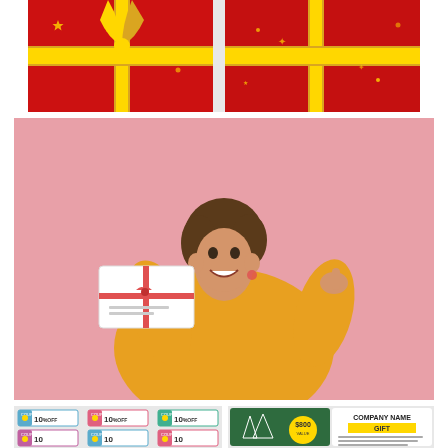[Figure (illustration): Red Christmas gift box banner with gold ribbon and bow, sparkles and stars on red background]
[Figure (photo): Young woman with short brown hair wearing yellow sweater, smiling and pointing to a white gift card/coupon with red bow, against pink background]
[Figure (illustration): Collection of coupon designs showing 10% OFF coupons in various colors (blue, pink, teal) arranged in a 2x3 grid on light gray background]
[Figure (illustration): Gift card design with dark green background showing Christmas trees, yellow circle with $800 VALUE text, COMPANY NAME header, and GIFT label on yellow banner]